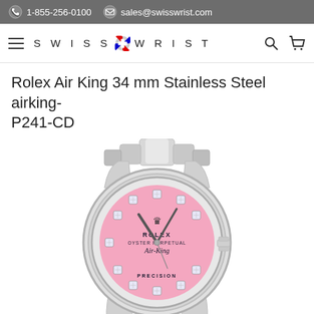1-855-256-0100  sales@swisswrist.com
Rolex Air King 34 mm Stainless Steel airking-P241-CD
[Figure (photo): Rolex Air King 34mm stainless steel watch with pink diamond dial, oyster bracelet, and crown at 3 o'clock position. Dial reads: ROLEX OYSTER PERPETUAL Air-King PRECISION]